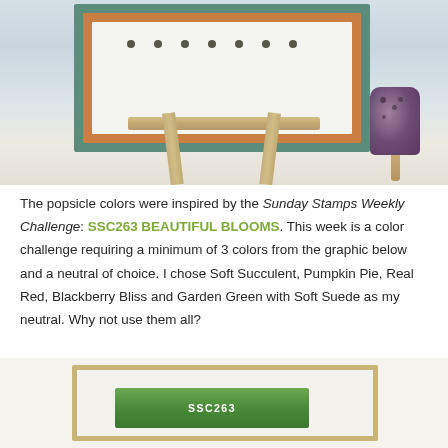[Figure (photo): Photo of a handmade greeting card displayed on a small wooden easel. The card has a teal outer layer, orange middle layer, and white inner panel with small dot stamps. A purple popsicle craft element is visible to the right of the easel.]
The popsicle colors were inspired by the Sunday Stamps Weekly Challenge: SSC263 BEAUTIFUL BLOOMS. This week is a color challenge requiring a minimum of 3 colors from the graphic below and a neutral of choice. I chose Soft Succulent, Pumpkin Pie, Real Red, Blackberry Bliss and Garden Green with Soft Suede as my neutral. Why not use them all?
[Figure (photo): Bottom portion of a framed challenge graphic with tan/gold border, white inner area, and a green banner beginning to show with text SSC263 visible at the bottom edge of the page.]